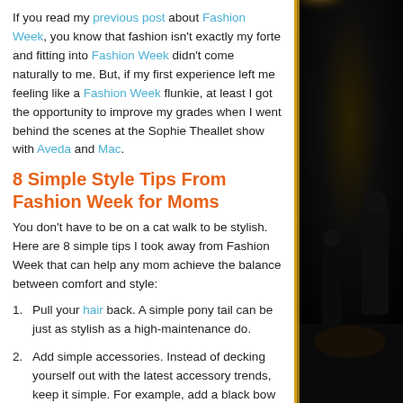If you read my previous post about Fashion Week, you know that fashion isn't exactly my forte and fitting into Fashion Week didn't come naturally to me. But, if my first experience left me feeling like a Fashion Week flunkie, at least I got the opportunity to improve my grades when I went behind the scenes at the Sophie Theallet show with Aveda and Mac.
8 Simple Style Tips From Fashion Week for Moms
You don't have to be on a cat walk to be stylish. Here are 8 simple tips I took away from Fashion Week that can help any mom achieve the balance between comfort and style:
Pull your hair back. A simple pony tail can be just as stylish as a high-maintenance do.
Add simple accessories. Instead of decking yourself out with the latest accessory trends, keep it simple. For example, add a black bow around your pony tail and leave it at that.
Wear bold eye shadow. Don't be shy! Eye shadow can take the most casual look and make it spicy or sexy or elegant. Play around.
[Figure (photo): Dark fashion show backstage photo with bright light source at top and figures in shadow]